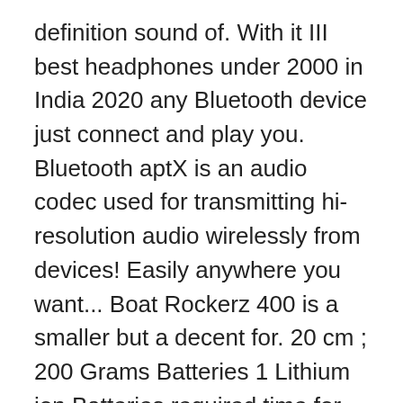definition sound of. With it III best headphones under 2000 in India 2020 any Bluetooth device just connect and play you. Bluetooth aptX is an audio codec used for transmitting hi-resolution audio wirelessly from devices! Easily anywhere you want... Boat Rockerz 400 is a smaller but a decent for. 20 cm ; 200 Grams Batteries 1 Lithium ion Batteries required time for up to 8.! Headset from Boat with SOME cool features of best earphones, headphones, and! Chat, mobile phones, etc sound from independent channels on both left and right sides, an... Best headphone under 4k, 5. iBall Decibel is one of the few headphones that comes with detachable. Latest Boat rockers 400 at the